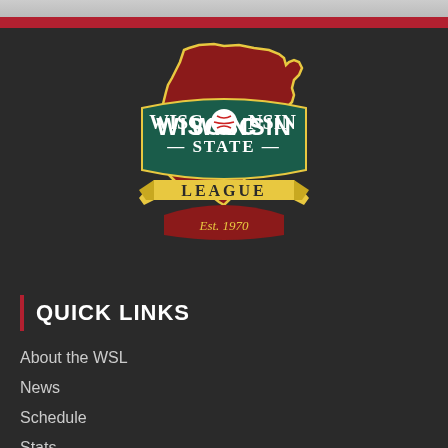[Figure (logo): Wisconsin State League logo — shield shape in dark red with Wisconsin state outline, teal/dark green banner reading WISCONSIN STATE in white bold letters, baseball replacing the O, yellow ribbon banner at bottom reading LEAGUE, and red script Est. 1970]
QUICK LINKS
About the WSL
News
Schedule
Stats
WSL Teams